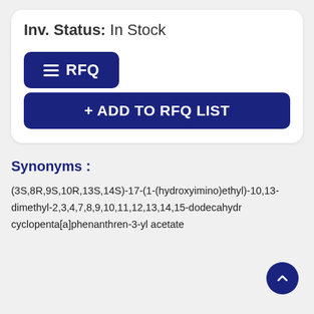Inv. Status: In Stock
RFQ
+ ADD TO RFQ LIST
Synonyms :
(3S,8R,9S,10R,13S,14S)-17-(1-(hydroxyimino)ethyl)-10,13-dimethyl-2,3,4,7,8,9,10,11,12,13,14,15-dodecahydro-1H-cyclopenta[a]phenanthren-3-yl acetate